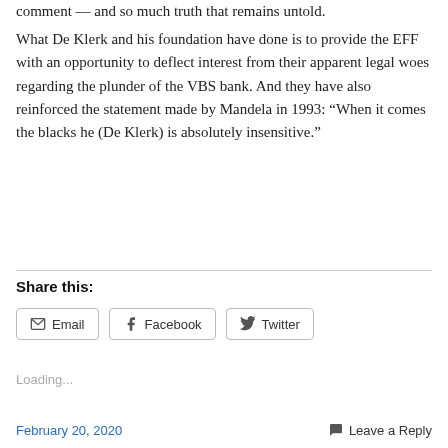comment — and so much truth that remains untold.
What De Klerk and his foundation have done is to provide the EFF with an opportunity to deflect interest from their apparent legal woes regarding the plunder of the VBS bank. And they have also reinforced the statement made by Mandela in 1993: “When it comes the blacks he (De Klerk) is absolutely insensitive.”
Share this:
Loading...
February 20, 2020    Leave a Reply